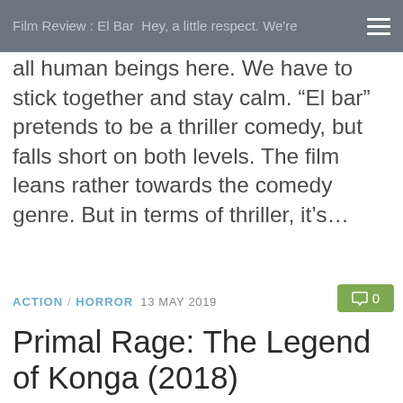Film Review : El Bar Hey, a little respect. We're
all human beings here. We have to stick together and stay calm. “El bar” pretends to be a thriller comedy, but falls short on both levels. The film leans rather towards the comedy genre. But in terms of thriller, it’s…
ACTION / HORROR 13 MAY 2019
Primal Rage: The Legend of Konga (2018)
Film Review : Primal Rage So you’re telling me right here, right now to my face, that you actually believe there’s an Oh-Mah out there? Admittedly, “Primal Rage” certainly won’t win